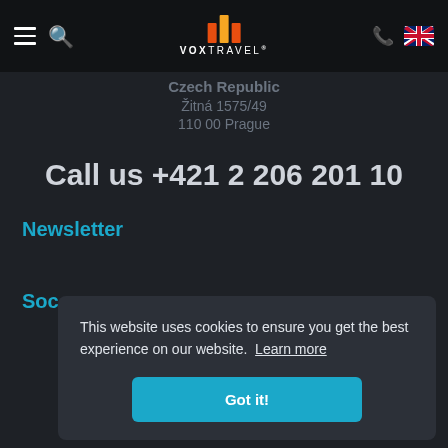VOX TRAVEL navigation bar with hamburger menu, search, logo, phone icon, UK flag
Czech Republic
Žitná 1575/49
110 00 Prague
Call us +421 2 206 201 10
Newsletter
Soc
This website uses cookies to ensure you get the best experience on our website.  Learn more

Got it!
Language: English (change)